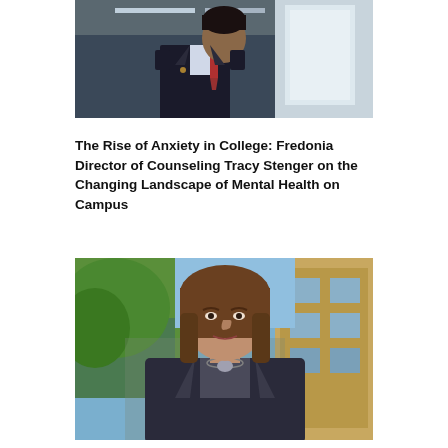[Figure (photo): Photograph of a man in a dark suit with a tie, standing in what appears to be an indoor corridor or building entrance with ceiling lights visible in the background.]
The Rise of Anxiety in College: Fredonia Director of Counseling Tracy Stenger on the Changing Landscape of Mental Health on Campus
[Figure (photo): Photograph of a woman with shoulder-length brown hair wearing a dark jacket and necklace, standing outdoors in front of a brick building with trees visible in the background. This is Tracy Stenger, Director of Counseling at Fredonia.]